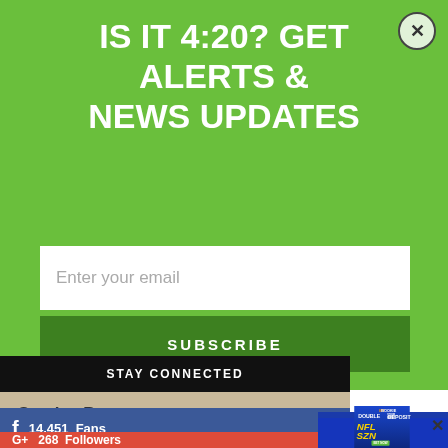IS IT 4:20? GET ALERTS & NEWS UPDATES
Enter your email
SUBSCRIBE
SmokeyBear
STAY CONNECTED
14,451  Fans
268  Followers
[Figure (screenshot): MyBookie advertisement overlay showing 'MY BOOKIE', 'DOUBLE YOUR FIRST DEPOSIT', 'NFL SZN', 'BET NOW' button, and Matthew Stafford on a blue background with NFL team imagery]